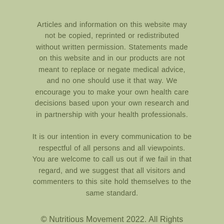Articles and information on this website may not be copied, reprinted or redistributed without written permission. Statements made on this website and in our products are not meant to replace or negate medical advice, and no one should use it that way. We encourage you to make your own health care decisions based upon your own research and in partnership with your health professionals.
It is our intention in every communication to be respectful of all persons and all viewpoints. You are welcome to call us out if we fail in that regard, and we suggest that all visitors and commenters to this site hold themselves to the same standard.
© Nutritious Movement 2022. All Rights Reserved.